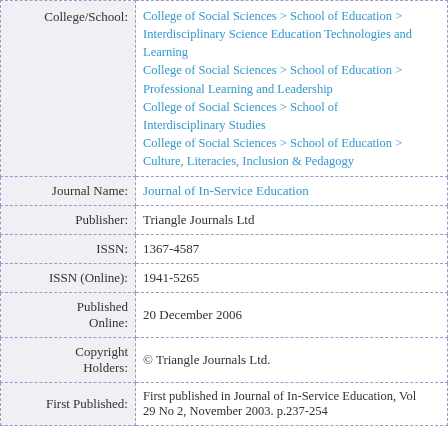| Field | Value |
| --- | --- |
| College/School: | College of Social Sciences > School of Education > Interdisciplinary Science Education Technologies and Learning
College of Social Sciences > School of Education > Professional Learning and Leadership
College of Social Sciences > School of Interdisciplinary Studies
College of Social Sciences > School of Education > Culture, Literacies, Inclusion & Pedagogy |
| Journal Name: | Journal of In-Service Education |
| Publisher: | Triangle Journals Ltd |
| ISSN: | 1367-4587 |
| ISSN (Online): | 1941-5265 |
| Published Online: | 20 December 2006 |
| Copyright Holders: | © Triangle Journals Ltd. |
| First Published: | First published in Journal of In-Service Education, Vol 29 No 2, November 2003. p.237-254 |